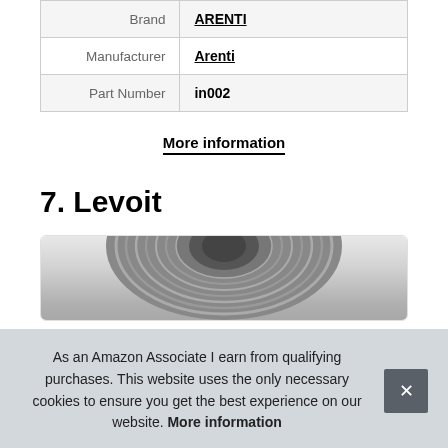| Brand | ARENTI |
| Manufacturer | Arenti |
| Part Number | in002 |
More information
7. Levoit
[Figure (photo): Top view of a circular fan/air purifier (Levoit product), showing dark concentric ridged pattern]
As an Amazon Associate I earn from qualifying purchases. This website uses the only necessary cookies to ensure you get the best experience on our website. More information